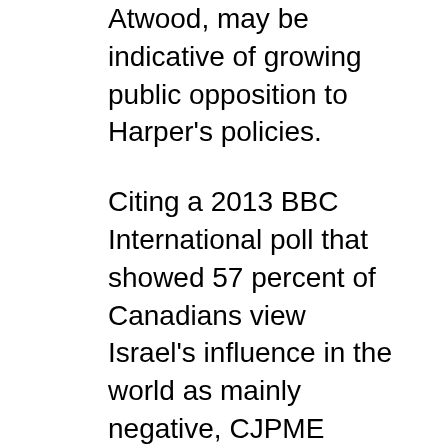Atwood, may be indicative of growing public opposition to Harper's policies.
Citing a 2013 BBC International poll that showed 57 percent of Canadians view Israel's influence in the world as mainly negative, CJPME (Canadians for Justice and Peace in the Middle East) rep Joan MacNeil notes, “The Harper government is clearly ignoring Canadians unease with Israel’s conduct.”
Citing another 2011 BBC poll showing a majority of Canadians supported Palestine’s bid for statehood, she says, “John Baird still trotted off to the UN